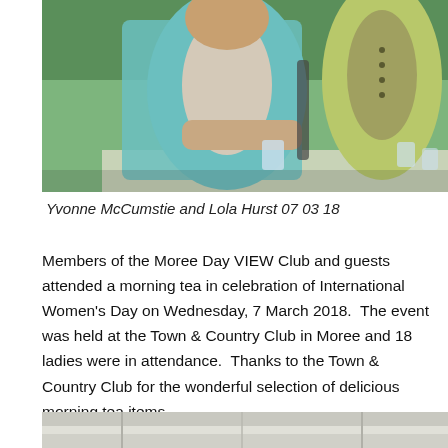[Figure (photo): Two women at an outdoor table, one wearing a teal/light blue cardigan, the other in a yellow-green jacket. Green grass visible in background.]
Yvonne McCumstie and Lola Hurst 07 03 18
Members of the Moree Day VIEW Club and guests attended a morning tea in celebration of International Women's Day on Wednesday, 7 March 2018.  The event was held at the Town & Country Club in Moree and 18 ladies were in attendance.  Thanks to the Town & Country Club for the wonderful selection of delicious morning tea items.
[Figure (photo): Partial view of an outdoor verandah or building structure, light-colored walls and roof visible.]